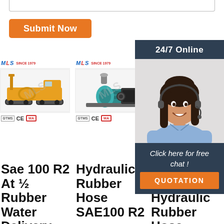[Figure (screenshot): Bottom edge of a textarea form input box]
Submit Now
[Figure (infographic): 24/7 Online chat overlay with customer service representative photo, 'Click here for free chat!' text, and orange QUOTATION button]
[Figure (photo): MLS brand product image: yellow construction/drilling truck on tracks]
[Figure (photo): MLS brand product image: teal/green hydraulic pump unit]
[Figure (photo): MLS brand product image: third product partially visible]
Sae 100 R2 At ½ Rubber Water Delivery
Hydraulic Rubber Hose SAE100 R2
Pacific Hoseflex Hydraulic Rubber Hose